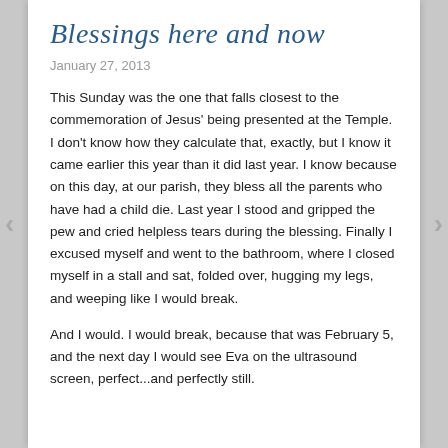Blessings here and now
January 27, 2013
This Sunday was the one that falls closest to the commemoration of Jesus' being presented at the Temple. I don't know how they calculate that, exactly, but I know it came earlier this year than it did last year. I know because on this day, at our parish, they bless all the parents who have had a child die. Last year I stood and gripped the pew and cried helpless tears during the blessing. Finally I excused myself and went to the bathroom, where I closed myself in a stall and sat, folded over, hugging my legs, and weeping like I would break.
And I would. I would break, because that was February 5, and the next day I would see Eva on the ultrasound screen, perfect...and perfectly still.